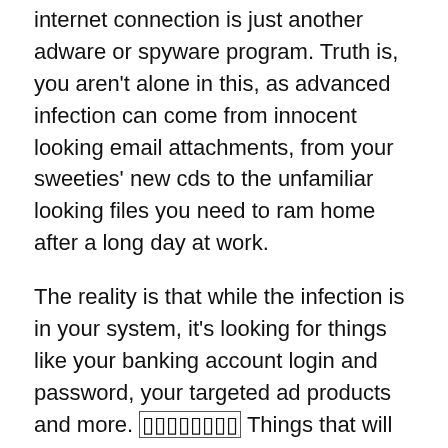internet connection is just another adware or spyware program. Truth is, you aren't alone in this, as advanced infection can come from innocent looking email attachments, from your sweeties' new cds to the unfamiliar looking files you need to ram home after a long day at work.
The reality is that while the infection is in your system, it's looking for things like your banking account login and password, your targeted ad products and more. [???????] Things that will help give a program access to your bank account and credit cards. When it has this information, it is then able to cause you immense loss, possibly resulting in a self-destruct sequence of events.